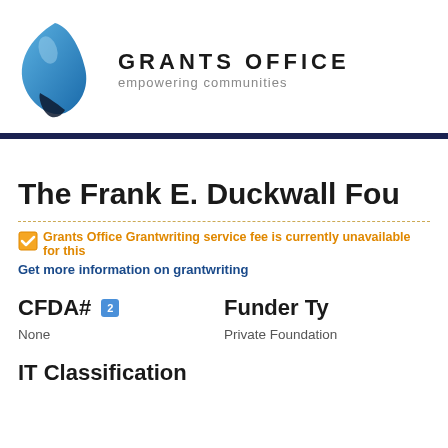[Figure (logo): Grants Office logo: blue teardrop/leaf shape with dark accent, beside bold uppercase GRANTS OFFICE text and tagline 'empowering communities']
The Frank E. Duckwall Fou...
Grants Office Grantwriting service fee is currently unavailable for this
Get more information on grantwriting
CFDA#
None
Funder Ty...
Private Foundation
IT Classification